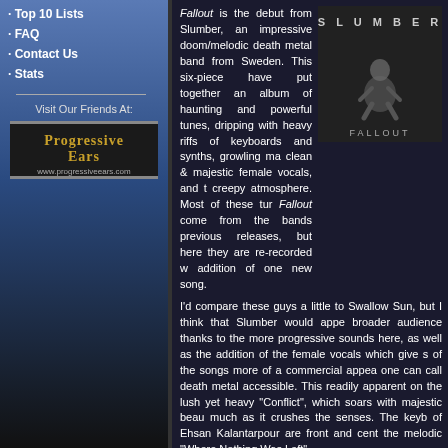· Top 10 Lists
· FAQ
· Contact Us
· Stats
Visit Our Friends At:
[Figure (logo): ProgressiveEars logo with URL www.progressiveears.com]
Fallout is the debut from Slumber, an impressive doom/melodic death metal band from Sweden. This six-piece have put together an album of haunting and powerful tunes, dripping with heavy riffs of keyboards and synths, growling ma clean & majestic female vocals, and t creepy atmosphere. Most of these tur Fallout come from the bands previou releases, but here they are re-recorded w addition of one new song.
[Figure (illustration): Slumber Fallout album cover — dark background with figure crouching, text SLUMBER at top and FALLOUT at bottom]
I'd compare these guys a little to Swallow Sun, but I think that Slumber would appe broader audience thanks to the more progressive sounds here, as well as the addition of the female vocals which give s of the songs more of a commercial appea one can call death metal accessible. This readily apparent on the lush yet heavy "Conflict", which soars with majestic beau much as it crushes the senses. The keyb of Ehsan Kalantarpour are front and cent the melodic "Where Nothing Was Left"